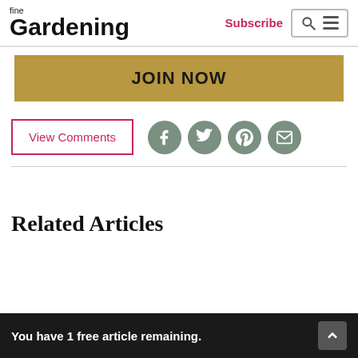[Figure (logo): Fine Gardening logo with text 'fine' small above 'Gardening' in large bold font]
Subscribe
[Figure (other): Search icon and hamburger menu inside a bordered box]
[Figure (other): Gold/tan JOIN NOW button banner]
View Comments
[Figure (other): Social media icons: Facebook, Twitter, Pinterest, Email in sage green circles]
Related Articles
You have 1 free article remaining.